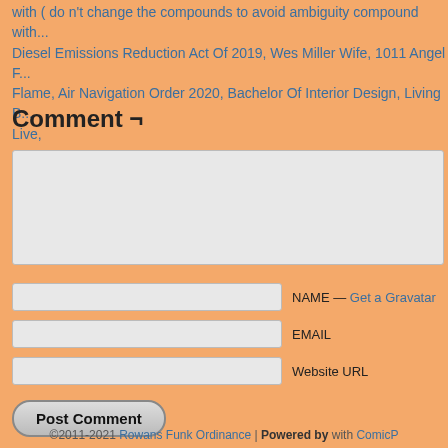with ( do n't change the compounds to avoid ambiguity compound with... Diesel Emissions Reduction Act Of 2019, Wes Miller Wife, 1011 Angel Flame, Air Navigation Order 2020, Bachelor Of Interior Design, Living B... Live,
Comment ¬
[textarea]
NAME — Get a Gravatar
EMAIL
Website URL
Post Comment
©2011-2021 Rowans Funk Ordinance | Powered by with ComicP